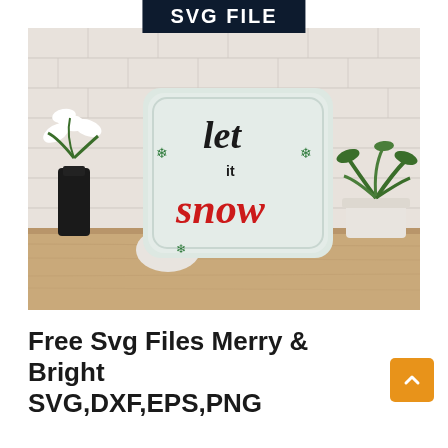[Figure (photo): Photo of a decorative pillow on a wooden shelf with the text 'let it snow' in black and red lettering with snowflake accents. A black vase with white lilies is on the left, a white round vase in the center-left, and a white pot with green plants on the right. Background is a white brick wall. Above the photo is a dark navy banner with 'SVG FILE' in bold white letters.]
Free Svg Files Merry & Bright SVG,DXF,EPS,PNG